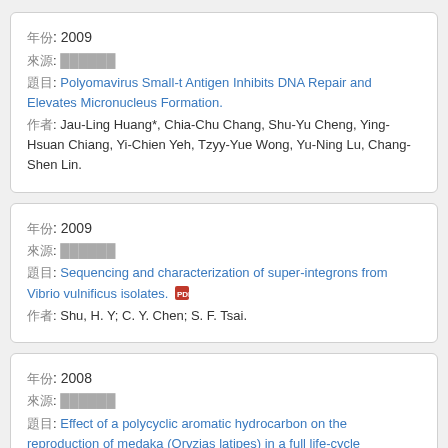年份: 2009
來源: ██████
題目: Polyomavirus Small-t Antigen Inhibits DNA Repair and Elevates Micronucleus Formation.
作者: Jau-Ling Huang*, Chia-Chu Chang, Shu-Yu Cheng, Ying-Hsuan Chiang, Yi-Chien Yeh, Tzyy-Yue Wong, Yu-Ning Lu, Chang-Shen Lin.
年份: 2009
來源: ██████
題目: Sequencing and characterization of super-integrons from Vibrio vulnificus isolates.
作者: Shu, H. Y; C. Y. Chen; S. F. Tsai.
年份: 2008
來源: ██████
題目: Effect of a polycyclic aromatic hydrocarbon on the reproduction of medaka (Oryzias latipes) in a full life-cycle